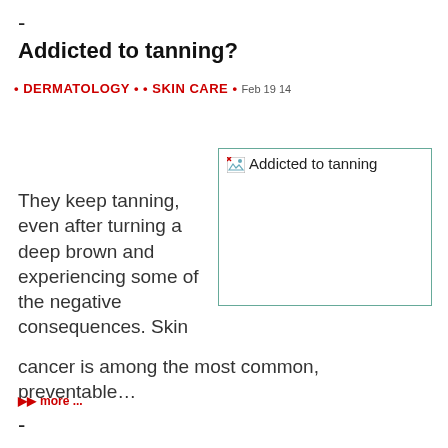-
Addicted to tanning?
• DERMATOLOGY • • SKIN CARE • Feb 19 14
[Figure (photo): Placeholder image with broken image icon and alt text 'Addicted to tanning']
They keep tanning, even after turning a deep brown and experiencing some of the negative consequences. Skin cancer is among the most common, preventable…
▶▶ more ...
-